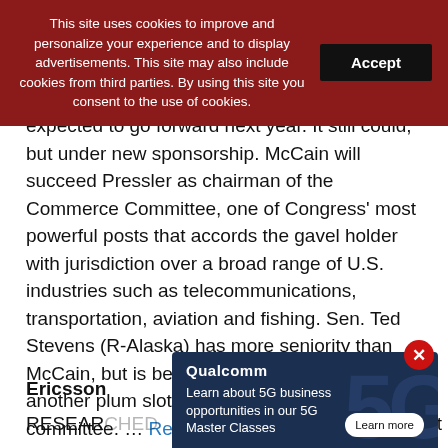This site uses cookies to improve and personalize your experience and to display advertisements. This site may also include cookies from third parties. By using this site you consent to the use of cookies.
expected to go forward next year. It still could, but under new sponsorship. McCain will succeed Pressler as chairman of the Commerce Committee, one of Congress' most powerful posts that accords the gavel holder with jurisdiction over a broad range of U.S. industries such as telecommunications, transportation, aviation and fishing. Sen. Ted Stevens (R-Alaska) has more seniority than McCain, but is believed more interested in another plum slot: the appropriations committee. … Read more
Ericsson
RESEAR ... unced it will ...
[Figure (screenshot): Qualcomm advertisement overlay: dark navy background with large faded 5G logo, Qualcomm branding, text 'Learn about 5G business opportunities in our 5G Master Classes', and a 'Learn more' button. A red close button (X) is in the top-right corner.]